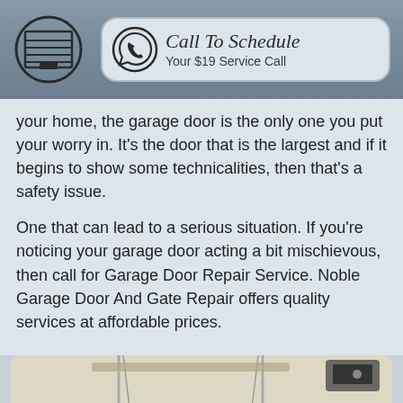[Figure (logo): Garage door service company header with garage icon logo and 'Call To Schedule Your $19 Service Call' button with phone icon]
your home, the garage door is the only one you put your worry in. It's the door that is the largest and if it begins to show some technicalities, then that's a safety issue.
One that can lead to a serious situation. If you're noticing your garage door acting a bit mischievous, then call for Garage Door Repair Service. Noble Garage Door And Gate Repair offers quality services at affordable prices.
[Figure (photo): Photo of garage door interior showing door tracks and opener mechanism]